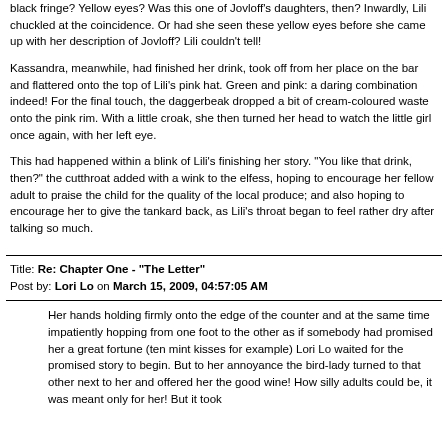black fringe? Yellow eyes? Was this one of Jovloff's daughters, then? Inwardly, Lili chuckled at the coincidence. Or had she seen these yellow eyes before she came up with her description of Jovloff? Lili couldn't tell!
Kassandra, meanwhile, had finished her drink, took off from her place on the bar and flattered onto the top of Lili's pink hat. Green and pink: a daring combination indeed! For the final touch, the daggerbeak dropped a bit of cream-coloured waste onto the pink rim. With a little croak, she then turned her head to watch the little girl once again, with her left eye.
This had happened within a blink of Lili's finishing her story. "You like that drink, then?" the cutthroat added with a wink to the elfess, hoping to encourage her fellow adult to praise the child for the quality of the local produce; and also hoping to encourage her to give the tankard back, as Lili's throat began to feel rather dry after talking so much.
Title: Re: Chapter One - "The Letter"
Post by: Lori Lo on March 15, 2009, 04:57:05 AM
Her hands holding firmly onto the edge of the counter and at the same time impatiently hopping from one foot to the other as if somebody had promised her a great fortune (ten mint kisses for example) Lori Lo waited for the promised story to begin. But to her annoyance the bird-lady turned to that other next to her and offered her the good wine! How silly adults could be, it was meant only for her! But it took